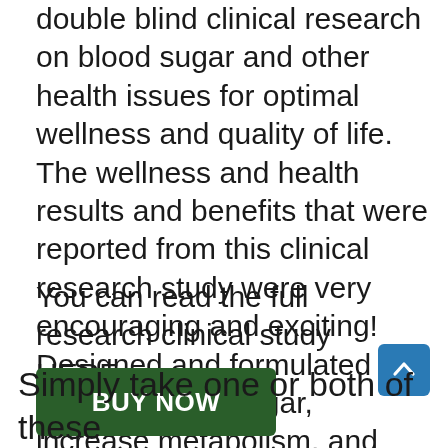double blind clinical research on blood sugar and other health issues for optimal wellness and quality of life. The wellness and health results and benefits that were reported from this clinical research study were very encouraging and exciting! Designed and formulated to balance blood sugar, increase metabolism, and improve mental clarity.
You can read the full research clinical study HERE.
BUY NOW
Simply take one or both of these